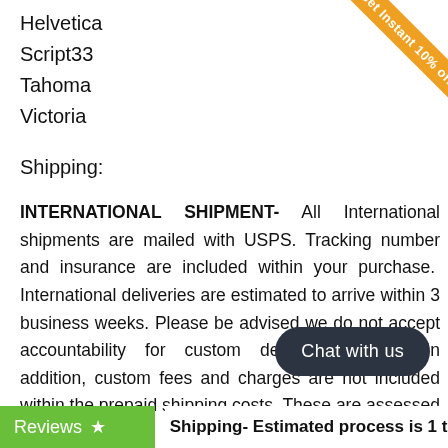Helvetica
Script33
Tahoma
Victoria
Shipping:
INTERNATIONAL SHIPMENT- All International shipments are mailed with USPS. Tracking number and insurance are included within your purchase. International deliveries are estimated to arrive within 3 business weeks. Please be advised we do not accept accountability for custom delayed process. In addition, custom fees and charges are not included within the prepaid shipping costs. These are assessed directly by your country and the actual cost is determined at their discretion.
[Figure (other): Orange corner ribbon with text 'Get Instant 10% off' and a play arrow icon]
Chat with us
Reviews ★
Shipping- Estimated process is 1 to 2 days